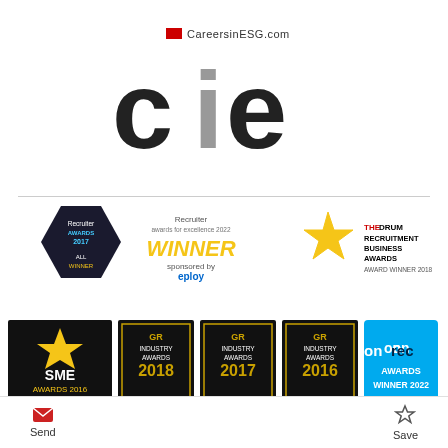[Figure (logo): CareersInESG.com logo with red square, grey 'i', and large 'cie' letters]
[Figure (logo): Row of award badge logos: Recruiter Awards 2017 Winner, Recruiter Awards for Excellence 2022 Winner (eploy), The Drum Recruitment Business Awards Winner 2018]
[Figure (logo): Row of award badge logos: SME Awards 2016 Winner, GR Industry Awards 2018 Winner, GR Industry Awards 2017 Winner, GR Industry Awards 2016 Winner, Onrec Awards Winner 2022]
Send  Save